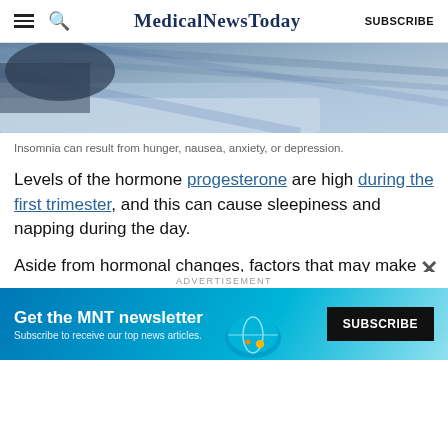MedicalNewsToday SUBSCRIBE
[Figure (photo): Close-up photo of a person lying in bed with blue-toned bedding suggesting insomnia or sleep disturbance]
Insomnia can result from hunger, nausea, anxiety, or depression.
Levels of the hormone progesterone are high during the first trimester, and this can cause sleepiness and napping during the day.
Aside from hormonal changes, factors that may make insomnia worse include:
hunger
[Figure (screenshot): Advertisement banner for MNT newsletter with blue background reading 'Get the MNT newsletter' with a Subscribe button]